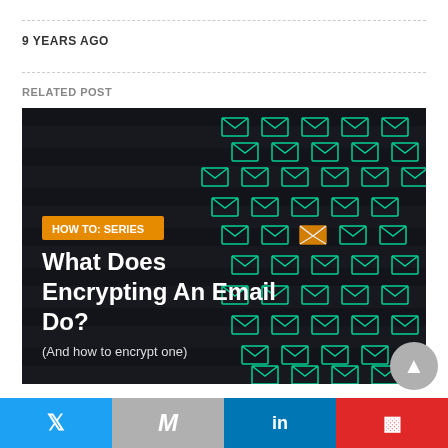9 YEARS AGO
RELATED POST
[Figure (photo): Dark background with rows of glowing green email envelope icons arranged diagonally, one orange envelope in the center. Overlay text: orange badge 'HOW TO: SERIES', white bold title 'What Does Encrypting An Email Do?', white subtitle '(And how to encrypt one)']
What Does Encrypting an Email Do?